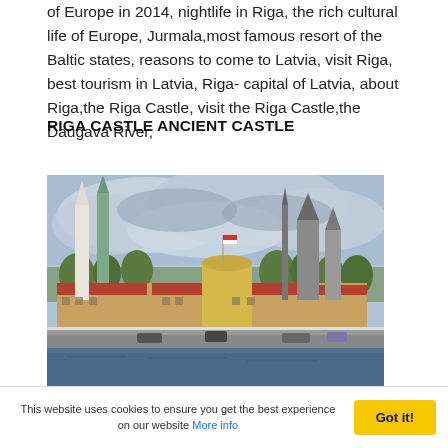of Europe in 2014, nightlife in Riga, the rich cultural life of Europe, Jurmala,most famous resort of the Baltic states, reasons to come to Latvia, visit Riga, best tourism in Latvia, Riga- capital of Latvia, about Riga,the Riga Castle, visit the Riga Castle,the Daugava River,
RIGA CASTLE ANCIENT CASTLE
[Figure (photo): Photograph of Riga Castle and old town skyline as seen from across the Daugava River, showing historic buildings with red roofs, church spires including a green spire and dark towers, a round yellow tower, trees, and a riverside road with cars.]
i...
This website uses cookies to ensure you get the best experience on our website More info